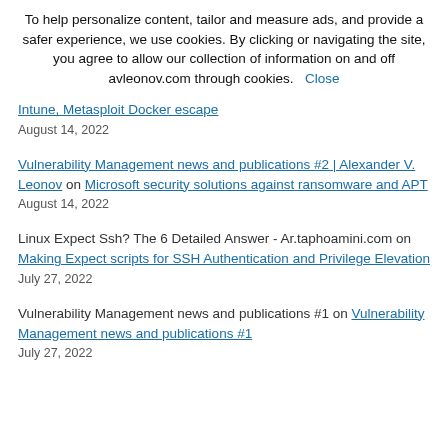To help personalize content, tailor and measure ads, and provide a safer experience, we use cookies. By clicking or navigating the site, you agree to allow our collection of information on and off avleonov.com through cookies. Close
Intune, Metasploit Docker escape
August 14, 2022
Vulnerability Management news and publications #2 | Alexander V. Leonov on Microsoft security solutions against ransomware and APT
August 14, 2022
Linux Expect Ssh? The 6 Detailed Answer - Ar.taphoamini.com on Making Expect scripts for SSH Authentication and Privilege Elevation
July 27, 2022
Vulnerability Management news and publications #1 on Vulnerability Management news and publications #1
July 27, 2022